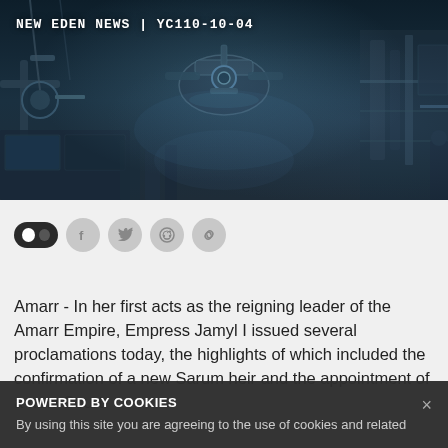[Figure (illustration): Sci-fi / space MMO game scene showing mechanical structures, a dark atmospheric cityscape with blue-teal lighting, futuristic architecture with cables and machinery]
NEW EDEN NEWS | YC110-10-04
[Figure (infographic): Social sharing icons row: dark mode toggle button (black circle + grey circle), followed by four grey circular icons for Facebook, Twitter, Reddit, and link/share]
Amarr - In her first acts as the reigning leader of the Amarr Empire, Empress Jamyl I issued several proclamations today, the highlights of which included the confirmation of a new Sarum heir and the appointment of a new Court
POWERED BY COOKIES
By using this site you are agreeing to the use of cookies and related